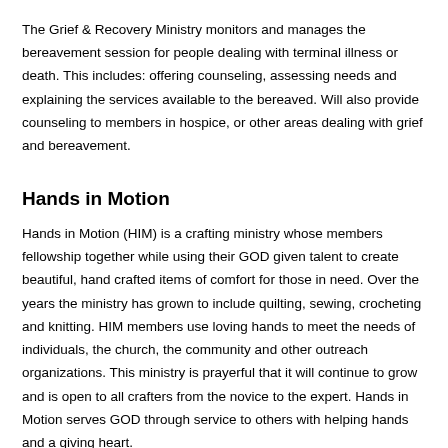The Grief & Recovery Ministry monitors and manages the bereavement session for people dealing with terminal illness or death. This includes: offering counseling, assessing needs and explaining the services available to the bereaved. Will also provide counseling to members in hospice, or other areas dealing with grief and bereavement.
Hands in Motion
Hands in Motion (HIM) is a crafting ministry whose members fellowship together while using their GOD given talent to create beautiful, hand crafted items of comfort for those in need. Over the years the ministry has grown to include quilting, sewing, crocheting and knitting. HIM members use loving hands to meet the needs of individuals, the church, the community and other outreach organizations. This ministry is prayerful that it will continue to grow and is open to all crafters from the novice to the expert. Hands in Motion serves GOD through service to others with helping hands and a giving heart.